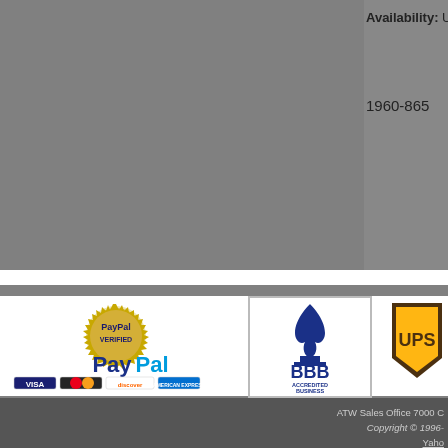Availability: Usually ships th...
1960-865  $236.95  Order
[Figure (logo): PayPal Verified badge with credit card logos (VISA, MasterCard, Discover, American Express) and PayPal text]
[Figure (logo): BBB Accredited Business seal]
[Figure (logo): UPS logo (partially visible) and eBay logo (partially visible)]
ATW Sales Office 7000 C... Copyright © 1996-... Yahoo... Merch...